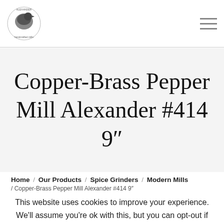Alexander logo and hamburger menu
Copper-Brass Pepper Mill Alexander #414 9"
Home / Our Products / Spice Grinders / Modern Mills / Copper-Brass Pepper Mill Alexander #414 9"
This website uses cookies to improve your experience. We'll assume you're ok with this, but you can opt-out if you wish.